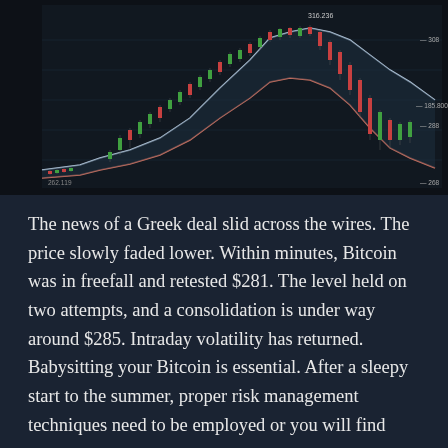[Figure (continuous-plot): Bitcoin candlestick price chart on dark background showing price movement with Bollinger Bands or moving average envelopes. Price rises steeply then falls sharply. Labels visible: 316.236 at peak, 185.800, 262.119, 288 on right side price levels.]
The news of a Greek deal slid across the wires. The price slowly faded lower. Within minutes, Bitcoin was in freefall and retested $281. The level held on two attempts, and a consolidation is under way around $285. Intraday volatility has returned. Babysitting your Bitcoin is essential. After a sleepy start to the summer, proper risk management techniques need to be employed or you will find